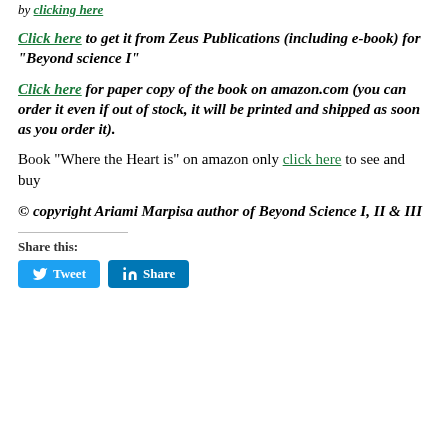by clicking here
Click here to get it from Zeus Publications (including e-book) for “Beyond science I”
Click here for paper copy of the book on amazon.com (you can order it even if out of stock, it will be printed and shipped as soon as you order it).
Book “Where the Heart is” on amazon only click here to see and buy
© copyright Ariami Marpisa author of Beyond Science I, II & III
Share this:
Tweet  Share